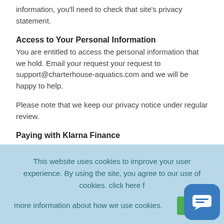information, you'll need to check that site's privacy statement.
Access to Your Personal Information
You are entitled to access the personal information that we hold. Email your request your request to support@charterhouse-aquatics.com and we will be happy to help.
Please note that we keep our privacy notice under regular review.
Paying with Klarna Finance
In order to offer you Klarna's payment methods, we might in the checkout pass your personal data in the form of contact and order details to Klarna, in order for Klarna to assess whether you qualify for their payment methods and to tailor those payment methods for you. Your personal data transferred is processed in line
This website uses cookies to improve your user experience. By using the site, you agree to our use of cookies. click here for more information about how we use cookies.